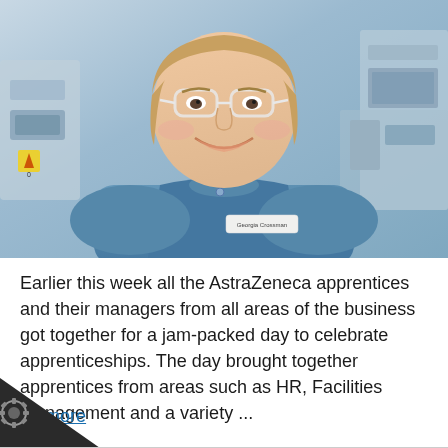[Figure (photo): A smiling woman wearing blue lab scrubs and clear safety glasses, standing in a laboratory environment with equipment visible in the background. She has a name badge reading 'Georgia Crossman'.]
Earlier this week all the AstraZeneca apprentices and their managers from all areas of the business got together for a jam-packed day to celebrate apprenticeships. The day brought together apprentices from areas such as HR, Facilities Management and a variety ...
Read more